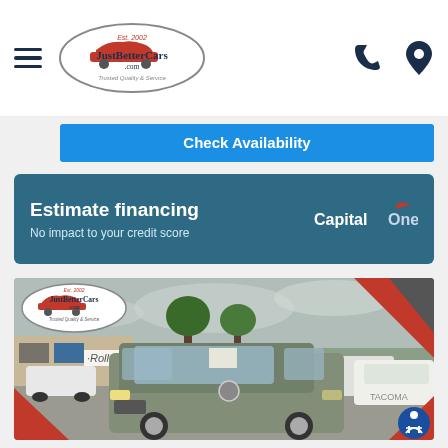JustBetterCars.com — Est. 2002 — Trusted Quality & Service
Check Availability
Estimate financing
No impact to your credit score
[Figure (photo): Toyota Highlander SUV in silver/green on dealer lot with JustBetterCars.com branding, red diagonal corner accents, other vehicles visible in background]